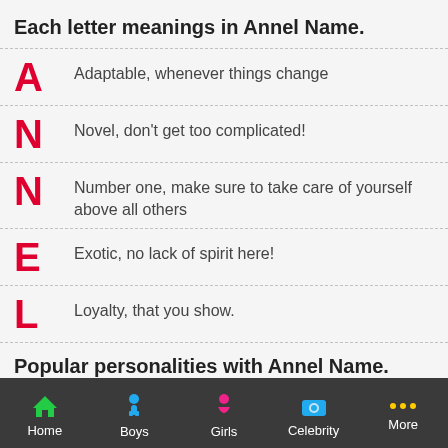Each letter meanings in Annel Name.
A – Adaptable, whenever things change
N – Novel, don't get too complicated!
N – Number one, make sure to take care of yourself above all others
E – Exotic, no lack of spirit here!
L – Loyalty, that you show.
Popular personalities with Annel Name.
Home | Boys | Girls | Celebrity | More